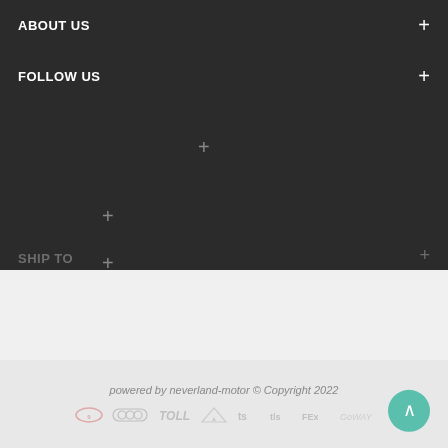ABOUT US
FOLLOW US
powered by neverland-motor © Copyright 2022